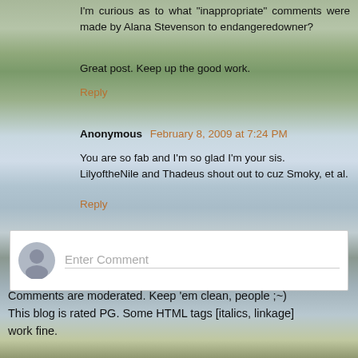I'm curious as to what "inappropriate" comments were made by Alana Stevenson to endangeredowner?
Great post. Keep up the good work.
Reply
Anonymous  February 8, 2009 at 7:24 PM
You are so fab and I'm so glad I'm your sis. LilyoftheNile and Thadeus shout out to cuz Smoky, et al.
Reply
Enter Comment
Comments are moderated. Keep 'em clean, people ;~) This blog is rated PG. Some HTML tags [italics, linkage] work fine.